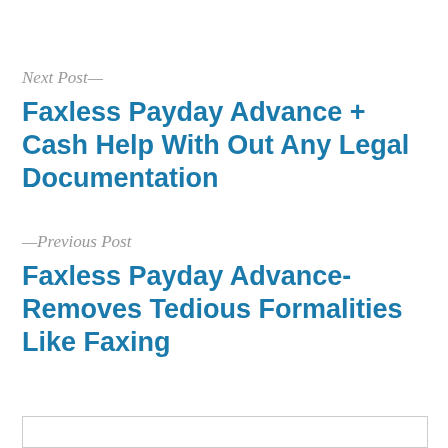Next Post—
Faxless Payday Advance + Cash Help With Out Any Legal Documentation
—Previous Post
Faxless Payday Advance-Removes Tedious Formalities Like Faxing